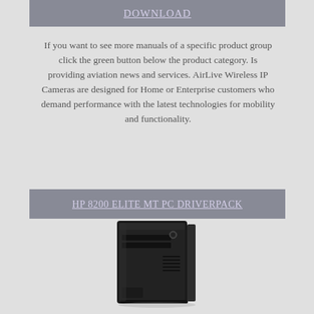DOWNLOAD
If you want to see more manuals of a specific product group click the green button below the product category. Is providing aviation news and services. AirLive Wireless IP Cameras are designed for Home or Enterprise customers who demand performance with the latest technologies for mobility and functionality.
HP 8200 ELITE MT PC DRIVERPACK
[Figure (photo): Photo of a black HP 8200 Elite MT PC tower desktop computer]